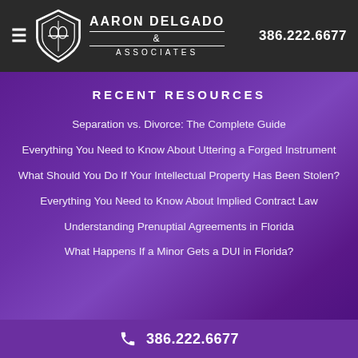Aaron Delgado & Associates | 386.222.6677
RECENT RESOURCES
Separation vs. Divorce: The Complete Guide
Everything You Need to Know About Uttering a Forged Instrument
What Should You Do If Your Intellectual Property Has Been Stolen?
Everything You Need to Know About Implied Contract Law
Understanding Prenuptial Agreements in Florida
What Happens If a Minor Gets a DUI in Florida?
386.222.6677